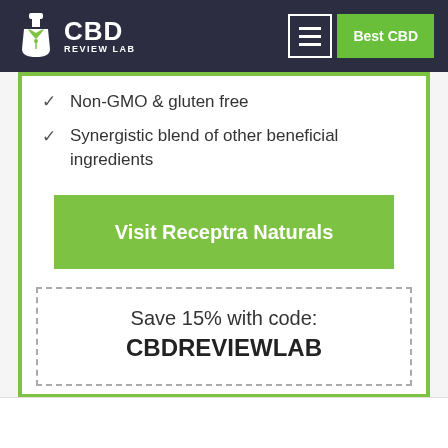CBD Review Lab — Best CBD
Non-GMO & gluten free
Synergistic blend of other beneficial ingredients
Visit Receptra Naturals
Save 15% with code: CBDREVIEWLAB